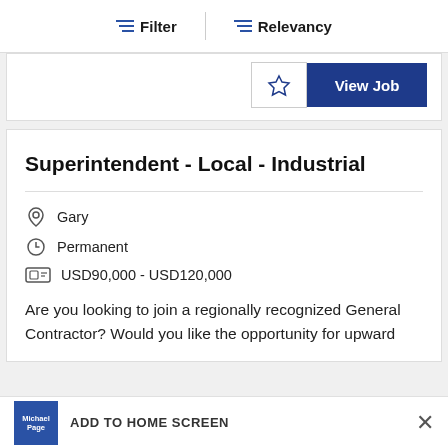Filter | Relevancy
[Figure (screenshot): Star (bookmark/save) icon button and blue View Job button]
Superintendent - Local - Industrial
Gary
Permanent
USD90,000 - USD120,000
Are you looking to join a regionally recognized General Contractor? Would you like the opportunity for upward
ADD TO HOME SCREEN